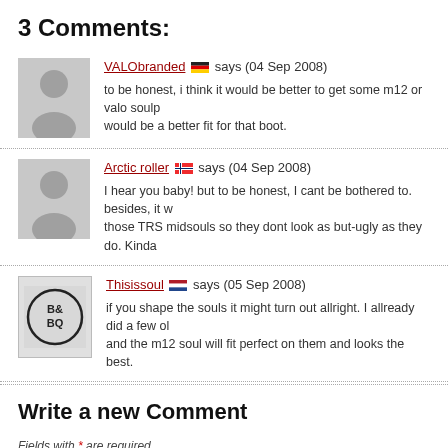3 Comments:
VALObranded says (04 Sep 2008)
to be honest, i think it would be better to get some m12 or valo soulp would be a better fit for that boot.
Arctic roller says (04 Sep 2008)
I hear you baby! but to be honest, I cant be bothered to. besides, it w those TRS midsouls so they dont look as but-ugly as they do. Kinda
Thisissoul says (05 Sep 2008)
if you shape the souls it might turn out allright. I allready did a few ol and the m12 soul will fit perfect on them and looks the best.
Write a new Comment
Fields with * are required.
Comment *